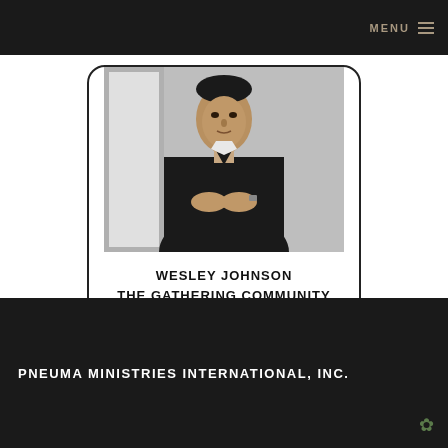MENU
[Figure (photo): Black and white photo of Wesley Johnson, a man in a dark v-neck sweater with clasped hands, standing in a room]
WESLEY JOHNSON
THE GATHERING COMMUNITY
PNEUMA MINISTRIES INTERNATIONAL, INC.